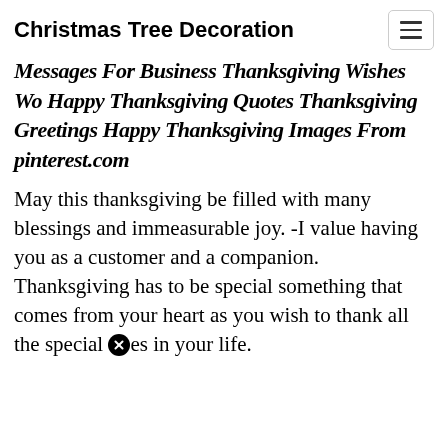Christmas Tree Decoration
Messages For Business Thanksgiving Wishes Wo Happy Thanksgiving Quotes Thanksgiving Greetings Happy Thanksgiving Images From pinterest.com
May this thanksgiving be filled with many blessings and immeasurable joy. -I value having you as a customer and a companion. Thanksgiving has to be special something that comes from your heart as you wish to thank all the special [X]es in your life.